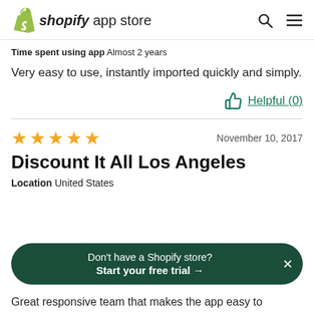shopify app store
Time spent using app  Almost 2 years
Very easy to use, instantly imported quickly and simply.
Helpful (0)
★★★★★  November 10, 2017
Discount It All Los Angeles
Location  United States
Don't have a Shopify store?
Start your free trial →
Great responsive team that makes the app easy to